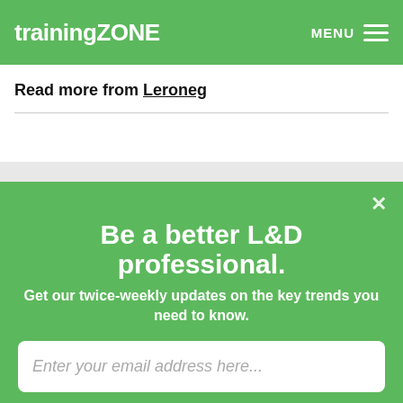trainingZONE  MENU
Read more from Leroneg
Be a better L&D professional. Get our twice-weekly updates on the key trends you need to know.
Enter your email address here...
Sign Up